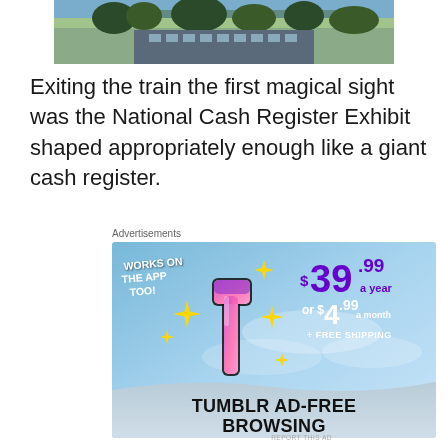[Figure (photo): Partial photo of a building exterior with trees visible, cropped at the top of the page]
Exiting the train the first magical sight was the National Cash Register Exhibit shaped appropriately enough like a giant cash register.
Advertisements
[Figure (illustration): Tumblr Ad-Free Browsing advertisement banner. Shows Tumblr logo 't' with pink/purple gradient, yellow sparkles, text 'WORKS ON THE APP TOO!', pricing '$39.99 a year or $4.99 a month + FREE SHIPPING', and bottom banner 'TUMBLR AD-FREE BROWSING']
REPORT THIS AD